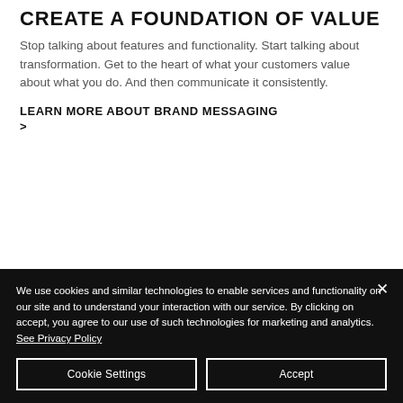CREATE A FOUNDATION OF VALUE
Stop talking about features and functionality. Start talking about transformation. Get to the heart of what your customers value about what you do. And then communicate it consistently.
LEARN MORE ABOUT BRAND MESSAGING >
We use cookies and similar technologies to enable services and functionality on our site and to understand your interaction with our service. By clicking on accept, you agree to our use of such technologies for marketing and analytics. See Privacy Policy
Cookie Settings
Accept